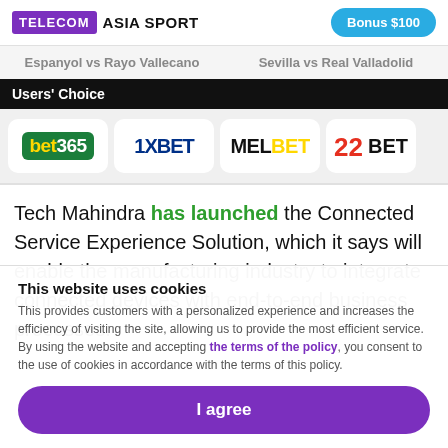TELECOM ASIA SPORT | Bonus $100
Espanyol vs Rayo Vallecano   Sevilla vs Real Valladolid
Users' Choice
[Figure (logo): Row of bookmaker logos: bet365, 1XBET, MELBET, 22BET]
Tech Mahindra has launched the Connected Service Experience Solution, which it says will enable the manufacturing industry to integrate connected devices with end-to-end business processes.
This website uses cookies
This provides customers with a personalized experience and increases the efficiency of visiting the site, allowing us to provide the most efficient service. By using the website and accepting the terms of the policy, you consent to the use of cookies in accordance with the terms of this policy.
I agree